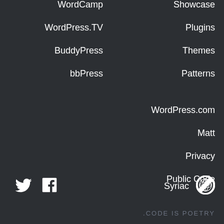WordCamp
Showcase
WordPress.TV
Plugins
BuddyPress
Themes
bbPress
Patterns
WordPress.com
Matt
Privacy
Public Code
[Figure (logo): Twitter bird icon]
[Figure (logo): Facebook icon]
Syriac
[Figure (logo): WordPress logo circle icon]
.CODE IS POETRY